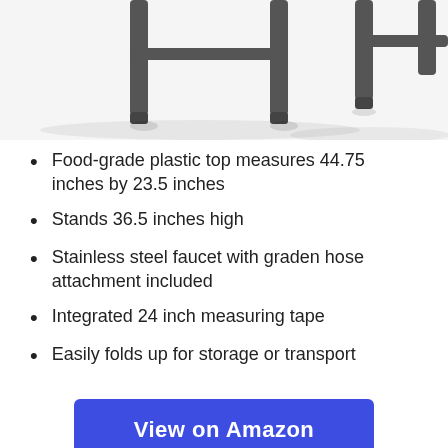[Figure (photo): Product photo showing the underside and legs of a folding table with dark metal tubular legs against a white/light grey background.]
Food-grade plastic top measures 44.75 inches by 23.5 inches
Stands 36.5 inches high
Stainless steel faucet with graden hose attachment included
Integrated 24 inch measuring tape
Easily folds up for storage or transport
View on Amazon